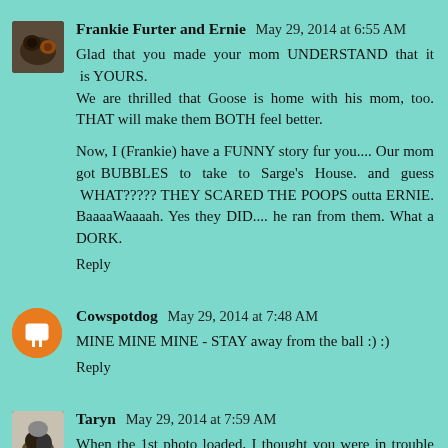Frankie Furter and Ernie  May 29, 2014 at 6:55 AM
Glad that you made your mom UNDERSTAND that it is YOURS.
We are thrilled that Goose is home with his mom, too. THAT will make them BOTH feel better.

Now, I (Frankie) have a FUNNY story fur you.... Our mom got BUBBLES to take to Sarge's House. and guess WHAT????? THEY SCARED THE POOPS outta ERNIE. BaaaaWaaaah. Yes they DID.... he ran from them. What a DORK.
Reply
Cowspotdog  May 29, 2014 at 7:48 AM
MINE MINE MINE - STAY away from the ball :) :)
Reply
Taryn  May 29, 2014 at 7:59 AM
When the 1st photo loaded, I thought you were in trouble with